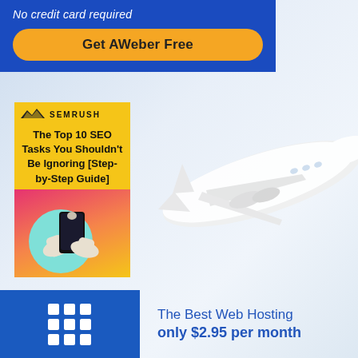No credit card required
Get AWeber Free
[Figure (illustration): SEMrush ad banner with yellow background, SEMrush logo, bold title text, and graphic of hands holding a phone with colorful background]
The Top 10 SEO Tasks You Shouldn't Be Ignoring [Step-by-Step Guide]
[Figure (illustration): White commercial airplane flying against a light blue sky background]
[Figure (logo): Blue box with white 3x3 grid icon representing a web hosting brand]
The Best Web Hosting only $2.95 per month